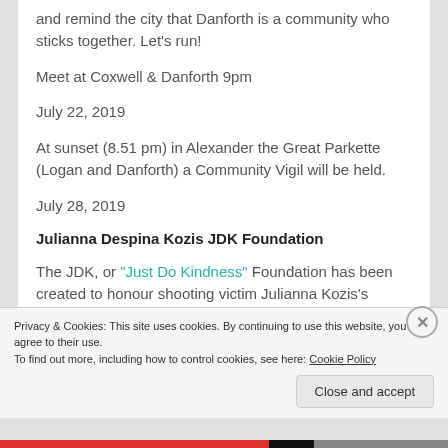and remind the city that Danforth is a community who sticks together. Let's run!
Meet at Coxwell & Danforth 9pm
July 22, 2019
At sunset (8.51 pm) in Alexander the Great Parkette (Logan and Danforth) a Community Vigil will be held.
July 28, 2019
Julianna Despina Kozis JDK Foundation
The JDK, or "Just Do Kindness" Foundation has been created to honour shooting victim Julianna Kozis's
Privacy & Cookies: This site uses cookies. By continuing to use this website, you agree to their use.
To find out more, including how to control cookies, see here: Cookie Policy